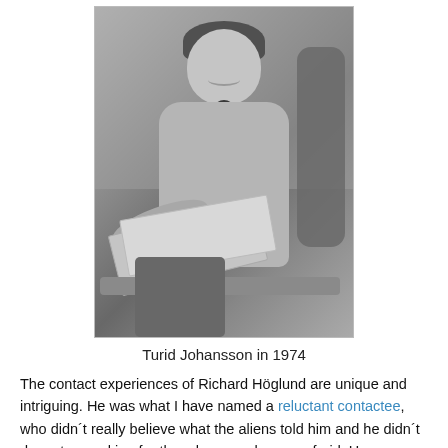[Figure (photo): Black and white photograph of Turid Johansson in 1974, a woman seated in a chair, smiling, holding papers or a book, with a necklace visible.]
Turid Johansson in 1974
The contact experiences of Richard Höglund are unique and intriguing. He was what I have named a reluctant contactee, who didn´t really believe what the aliens told him and he didn´t dare stop working for them because he was afraid. He was